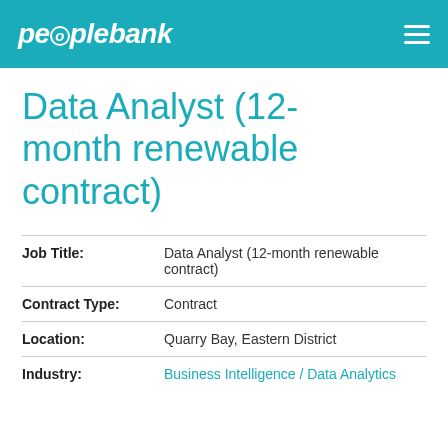peoplebank
Data Analyst (12-month renewable contract)
| Job Title: | Data Analyst (12-month renewable contract) |
| Contract Type: | Contract |
| Location: | Quarry Bay, Eastern District |
| Industry: | Business Intelligence / Data Analytics |